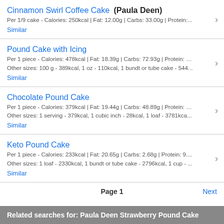Cinnamon Swirl Coffee Cake (Paula Deen)
Per 1/9 cake - Calories: 250kcal | Fat: 12.00g | Carbs: 33.00g | Protein:...
Similar
Pound Cake with Icing
Per 1 piece - Calories: 478kcal | Fat: 18.39g | Carbs: 72.93g | Protein: ...
Other sizes: 100 g - 389kcal, 1 oz - 110kcal, 1 bundt or tube cake - 544...
Similar
Chocolate Pound Cake
Per 1 piece - Calories: 379kcal | Fat: 19.44g | Carbs: 48.89g | Protein: ...
Other sizes: 1 serving - 379kcal, 1 cubic inch - 28kcal, 1 loaf - 3781kca...
Similar
Keto Pound Cake
Per 1 piece - Calories: 233kcal | Fat: 20.65g | Carbs: 2.68g | Protein: 9....
Other sizes: 1 loaf - 2330kcal, 1 bundt or tube cake - 2796kcal, 1 cup - ...
Similar
Page 1   Next
Related searches for: Paula Deen Strawberry Pound Cake